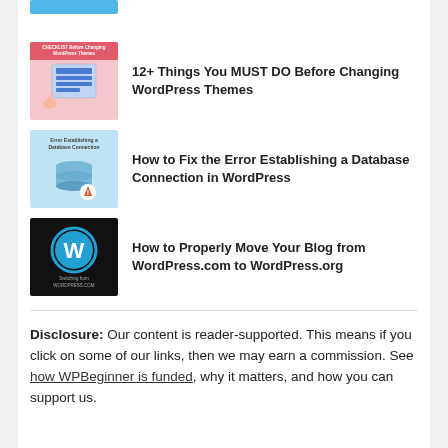[Figure (illustration): Partial thumbnail strip at top of page - blue WordPress related image cropped]
[Figure (illustration): Checklist thumbnail - pink background with checklist text and WordPress icon]
12+ Things You MUST DO Before Changing WordPress Themes
[Figure (illustration): Database error thumbnail - light blue background with database icon and error text]
How to Fix the Error Establishing a Database Connection in WordPress
[Figure (illustration): Black background with WordPress logo and 'Switching from WordPress.com' text]
How to Properly Move Your Blog from WordPress.com to WordPress.org
Disclosure: Our content is reader-supported. This means if you click on some of our links, then we may earn a commission. See how WPBeginner is funded, why it matters, and how you can support us.